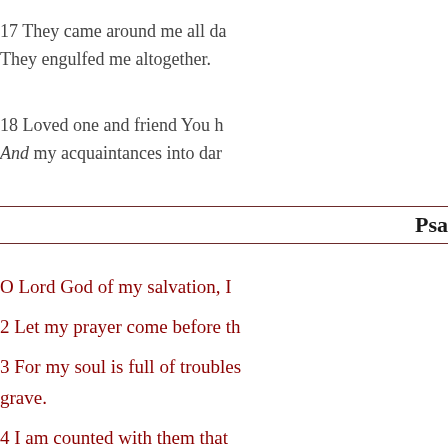17 They came around me all da They engulfed me altogether.
18 Loved one and friend You h And my acquaintances into dar
Psa
O Lord God of my salvation, I
2 Let my prayer come before th
3 For my soul is full of troubles grave.
4 I am counted with them that